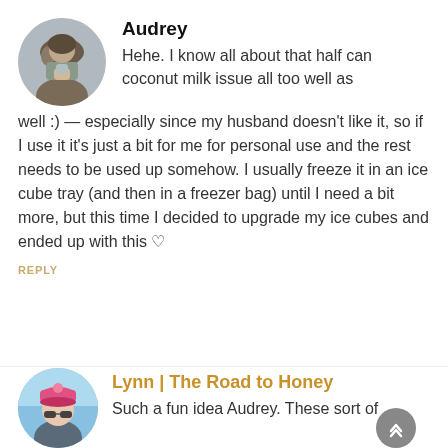[Figure (photo): Circular avatar photo of Audrey, a woman in winter clothing holding a drink]
Audrey
Hehe. I know all about that half can coconut milk issue all too well as well :) — especially since my husband doesn't like it, so if I use it it's just a bit for me for personal use and the rest needs to be used up somehow. I usually freeze it in an ice cube tray (and then in a freezer bag) until I need a bit more, but this time I decided to upgrade my ice cubes and ended up with this ♡
REPLY
[Figure (photo): Circular avatar photo of Lynn, a person wearing a pink hat and sunglasses outdoors]
Lynn | The Road to Honey
Such a fun idea Audrey. These sort of remind me of the dipping dots ice cream but only better. I like that they are bigger than these